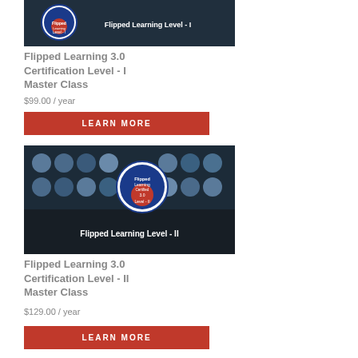[Figure (photo): Course thumbnail showing 'Flipped Learning Level - I' text on dark background with badge]
Flipped Learning 3.0 Certification Level - I Master Class
$99.00 / year
LEARN MORE
[Figure (photo): Course thumbnail showing group of people faces and 'Flipped Learning Level - II' text on dark background with Flipped Learning Certified 3.0 badge]
Flipped Learning 3.0 Certification Level - II Master Class
$129.00 / year
LEARN MORE